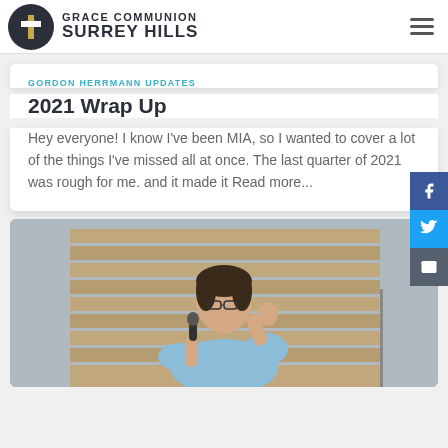GRACE COMMUNION SURREY HILLS
GORDON HERRMANN UPDATES
2021 Wrap Up
Hey everyone! I know I've been MIA, so I wanted to cover a lot of the things I've missed all at once. The last quarter of 2021 was rough for me. and it made it Read more...
[Figure (photo): A man in a light blue shirt speaking into a microphone on a stage, raising his right hand, with wooden panel backdrop]